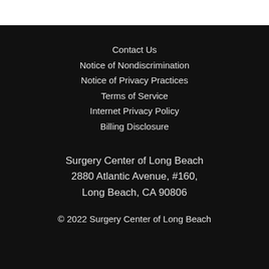Contact Us
Notice of Nondiscrimination
Notice of Privacy Practices
Terms of Service
Internet Privacy Policy
Billing Disclosure
Surgery Center of Long Beach
2880 Atlantic Avenue, #160,
Long Beach, CA 90806
© 2022 Surgery Center of Long Beach